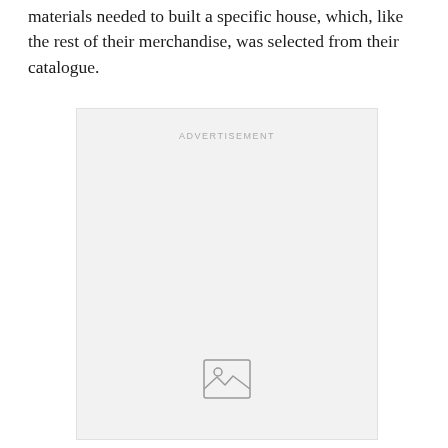materials needed to built a specific house, which, like the rest of their merchandise, was selected from their catalogue.
[Figure (other): Advertisement placeholder box with 'ADVERTISEMENT' label at top and a broken image icon at bottom center]